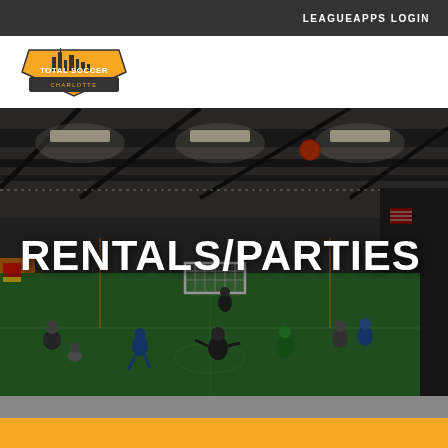LEAGUEAPPS LOGIN
[Figure (logo): Total Soccer Charlotte logo — orange shield shape with city skyline silhouette and text 'TOTAL SOCCER CHARLOTTE']
[Figure (photo): Indoor soccer facility photo showing a large turf field with orange walls/netting, children and adults playing soccer, high ceiling with steel beams and lighting, goal in background]
RENTALS/PARTIES